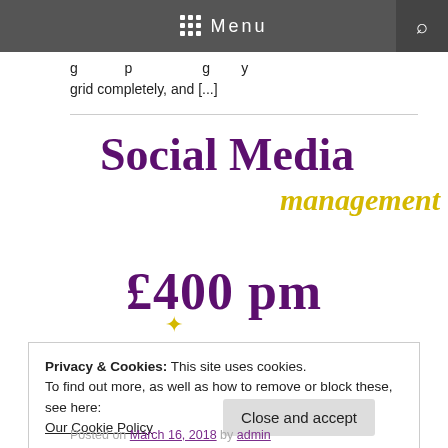Menu
g p g y grid completely, and [...]
[Figure (illustration): Social Media management promotional image with large purple bold text 'Social Media' and yellow italic text 'management']
£400 pm
Privacy & Cookies: This site uses cookies.
To find out more, as well as how to remove or block these, see here:
Our Cookie Policy
Close and accept
Posted on March 16, 2018 by admin